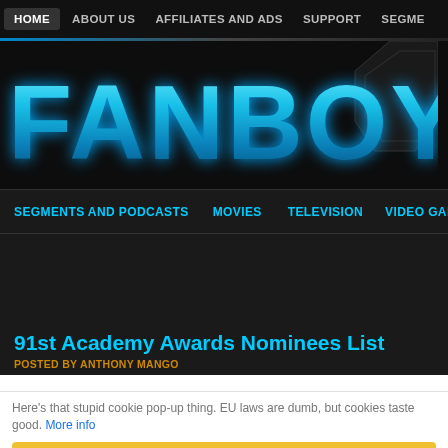HOME | ABOUT US | AFFILIATES AND ADS | SUPPORT | SEGME...
[Figure (logo): FANBOYS website logo in large cyan/blue gradient block letters on black background with hexagon decoration]
SEGMENTS AND PODCASTS | MOVIES | TELEVISION | VIDEO GAMES
91st Academy Awards Nominees List
POSTED BY ANTHONY MANGO
Here's that stupid cookie pop-up thing. EU laws are dumb, but cookies taste good. More info
I get it, dude.